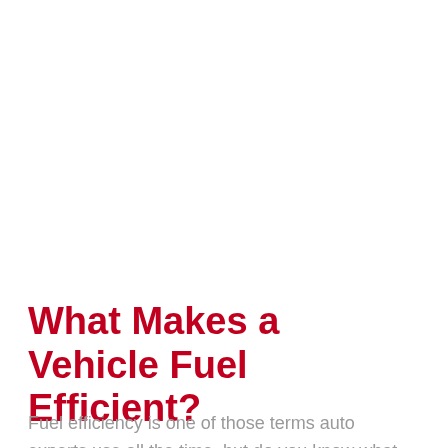What Makes a Vehicle Fuel Efficient?
Fuel efficiency is one of those terms auto experts use all the time, but do you know what